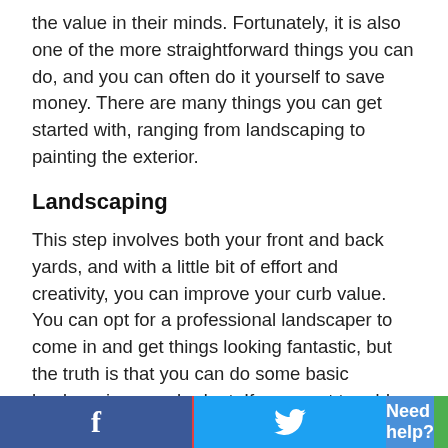the value in their minds. Fortunately, it is also one of the more straightforward things you can do, and you can often do it yourself to save money. There are many things you can get started with, ranging from landscaping to painting the exterior.
Landscaping
This step involves both your front and back yards, and with a little bit of effort and creativity, you can improve your curb value. You can opt for a professional landscaper to come in and get things looking fantastic, but the truth is that you can do some basic landscaping on a budget. If you want to add plants or flowers, look at nurseries near you and see if they have any sales going on or coupons available. You can also buy them from grocery stores or hardware stores! Make your home look move-in ready
f  [Twitter bird]  Need help?  [Chat icon]